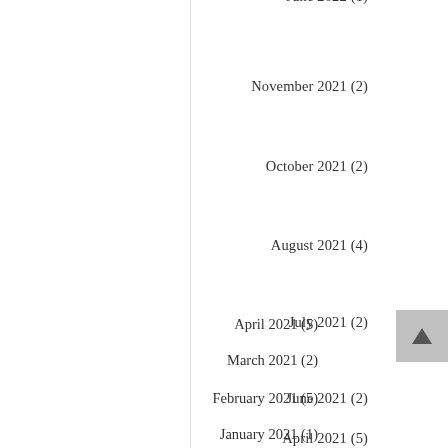June 2022 (1)
November 2021 (2)
October 2021 (2)
August 2021 (4)
July 2021 (2)
June 2021 (2)
April 2021 (5)
March 2021 (2)
February 2021 (5)
January 2021 (1)